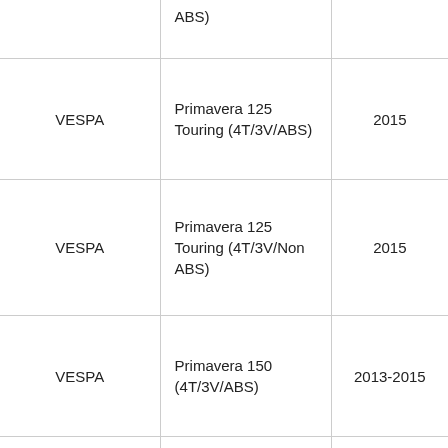|  | ABS) |  |
| VESPA | Primavera 125 Touring (4T/3V/ABS) | 2015 |
| VESPA | Primavera 125 Touring (4T/3V/Non ABS) | 2015 |
| VESPA | Primavera 150 (4T/3V/ABS) | 2013-2015 |
| VESPA | Primavera 150 (4T/3V/Non ABS) | 2013-2015 |